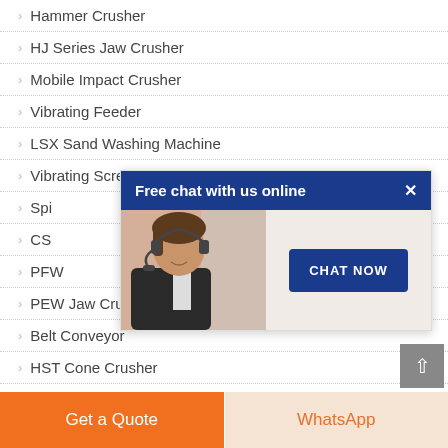Hammer Crusher
HJ Series Jaw Crusher
Mobile Impact Crusher
Vibrating Feeder
LSX Sand Washing Machine
Vibrating Screen
Spi...
CS...
PFW...
PEW Jaw Crusher
Belt Conveyor
HST Cone Crusher
Ball Mill
[Figure (screenshot): Live chat popup overlay showing 'Free chat with us online' header in dark blue, a customer service representative with headset, and a 'CHAT NOW' button]
Get a Quote
WhatsApp